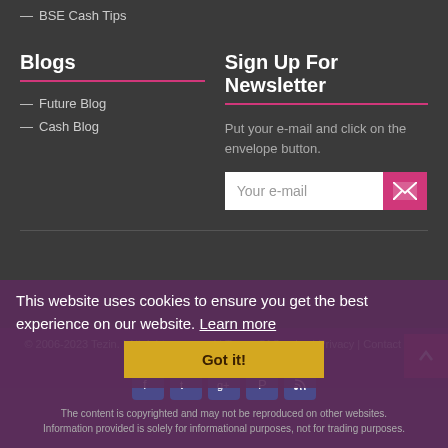BSE Cash Tips
Blogs
Future Blog
Cash Blog
Sign Up For Newsletter
Put your e-mail and click on the envelope button.
Your e-mail
© 2006-2023 Tezin. | All rights reserved | Terms Of Service | Privacy | Contact Us | Sitemap
This website uses cookies to ensure you get the best experience on our website. Learn more
Got it!
The content is copyrighted and may not be reproduced on other websites. Information provided is solely for informational purposes, not for trading purposes.